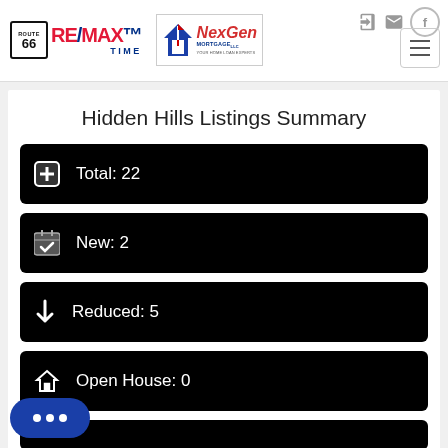[Figure (logo): RE/MAX Route 66 Time logo with NexGen Mortgage logo side by side in website header]
Hidden Hills Listings Summary
Total: 22
New: 2
Reduced: 5
Open House: 0